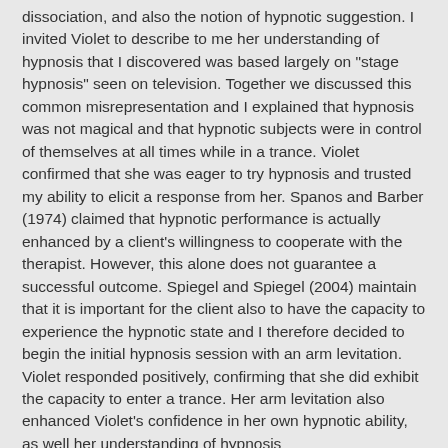dissociation, and also the notion of hypnotic suggestion. I invited Violet to describe to me her understanding of hypnosis that I discovered was based largely on "stage hypnosis" seen on television. Together we discussed this common misrepresentation and I explained that hypnosis was not magical and that hypnotic subjects were in control of themselves at all times while in a trance. Violet confirmed that she was eager to try hypnosis and trusted my ability to elicit a response from her. Spanos and Barber (1974) claimed that hypnotic performance is actually enhanced by a client's willingness to cooperate with the therapist. However, this alone does not guarantee a successful outcome. Spiegel and Spiegel (2004) maintain that it is important for the client also to have the capacity to experience the hypnotic state and I therefore decided to begin the initial hypnosis session with an arm levitation. Violet responded positively, confirming that she did exhibit the capacity to enter a trance. Her arm levitation also enhanced Violet's confidence in her own hypnotic ability, as well her understanding of hypnosis...